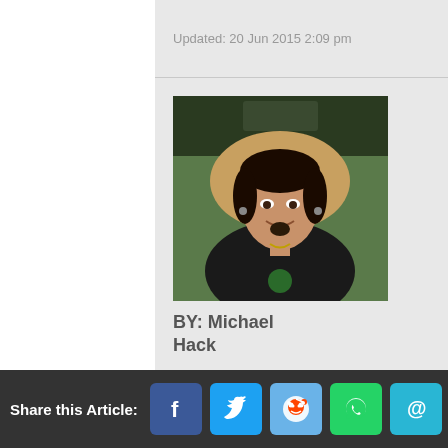Updated: 20 Jun 2015 2:09 pm
[Figure (photo): Portrait photo of Michael Hack, a young man in a car, wearing a black shirt with a seatbelt visible, slight smile, dark hair]
BY: Michael Hack
Share this Article: [Facebook] [Twitter] [Reddit] [WhatsApp] [Email]